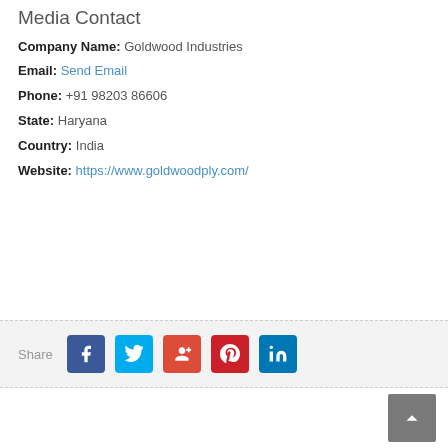Media Contact
Company Name: Goldwood Industries
Email: Send Email
Phone: +91 98203 86606
State: Haryana
Country: India
Website: https://www.goldwoodply.com/
[Figure (infographic): Share bar with social media icons: Facebook (blue), Twitter (cyan), Google+ (red-orange), Pinterest (red), LinkedIn (dark blue)]